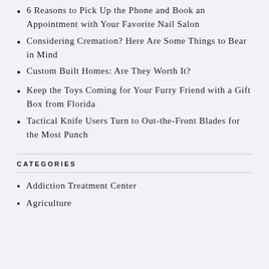6 Reasons to Pick Up the Phone and Book an Appointment with Your Favorite Nail Salon
Considering Cremation? Here Are Some Things to Bear in Mind
Custom Built Homes: Are They Worth It?
Keep the Toys Coming for Your Furry Friend with a Gift Box from Florida
Tactical Knife Users Turn to Out-the-Front Blades for the Most Punch
CATEGORIES
Addiction Treatment Center
Agriculture